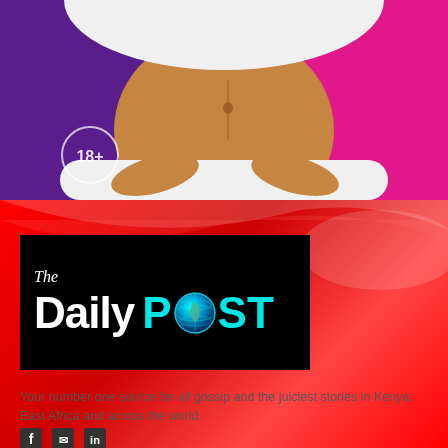[Figure (photo): Pregnant woman in white clothing holding belly, shown from neck to waist, against purple and pink background with 18+ label in lower left]
[Figure (logo): The Daily Post logo: black rectangle with white italic 'The' above bold white 'Daily' and bold cyan 'POST' with globe replacing letter O, on red background]
Your number one source for all gossip and the juiciest stories in Kenya, East Africa and across the world.